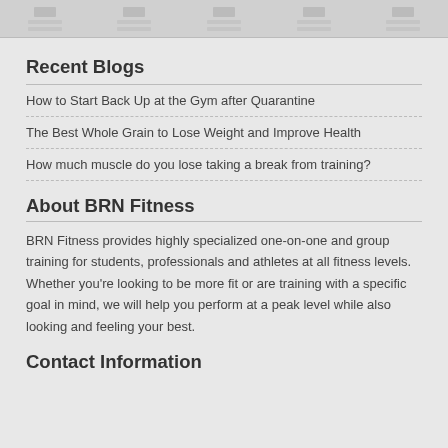Navigation bar with icons
Recent Blogs
How to Start Back Up at the Gym after Quarantine
The Best Whole Grain to Lose Weight and Improve Health
How much muscle do you lose taking a break from training?
About BRN Fitness
BRN Fitness provides highly specialized one-on-one and group training for students, professionals and athletes at all fitness levels. Whether you're looking to be more fit or are training with a specific goal in mind, we will help you perform at a peak level while also looking and feeling your best.
Contact Information